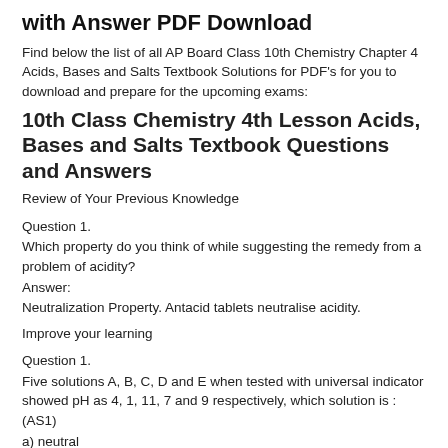with Answer PDF Download
Find below the list of all AP Board Class 10th Chemistry Chapter 4 Acids, Bases and Salts Textbook Solutions for PDF's for you to download and prepare for the upcoming exams:
10th Class Chemistry 4th Lesson Acids, Bases and Salts Textbook Questions and Answers
Review of Your Previous Knowledge
Question 1.
Which property do you think of while suggesting the remedy from a problem of acidity?
Answer:
Neutralization Property. Antacid tablets neutralise acidity.
Improve your learning
Question 1.
Five solutions A, B, C, D and E when tested with universal indicator showed pH as 4, 1, 11, 7 and 9 respectively, which solution is : (AS1)
a) neutral